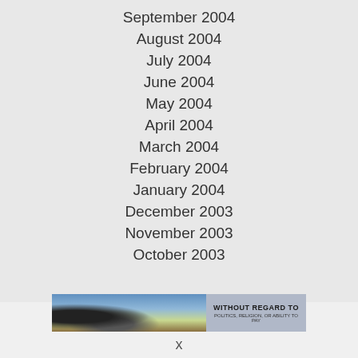September 2004
August 2004
July 2004
June 2004
May 2004
April 2004
March 2004
February 2004
January 2004
December 2003
November 2003
October 2003
[Figure (photo): Advertisement banner showing cargo being loaded onto an aircraft, with text 'WITHOUT REGARD TO POLITICS, RELIGION, OR ABILITY TO PAY']